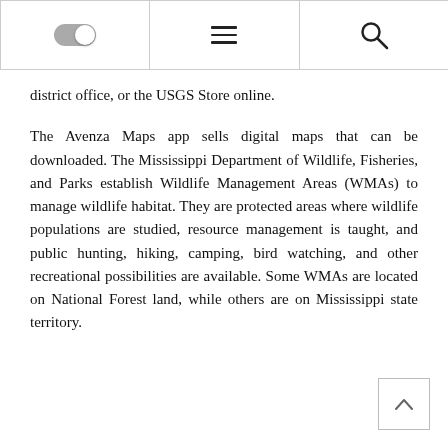[Figure (other): Navigation bar with toggle switch (off), hamburger menu icon, and search icon]
district office, or the USGS Store online.
The Avenza Maps app sells digital maps that can be downloaded. The Mississippi Department of Wildlife, Fisheries, and Parks establish Wildlife Management Areas (WMAs) to manage wildlife habitat. They are protected areas where wildlife populations are studied, resource management is taught, and public hunting, hiking, camping, bird watching, and other recreational possibilities are available. Some WMAs are located on National Forest land, while others are on Mississippi state territory.